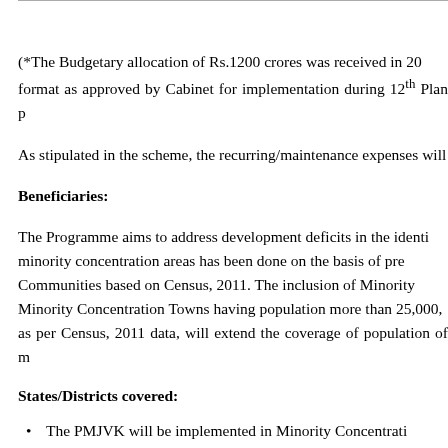(*The Budgetary allocation of Rs.1200 crores was received in 20... format as approved by Cabinet for implementation during 12th Plan p...
As stipulated in the scheme, the recurring/maintenance expenses will...
Beneficiaries:
The Programme aims to address development deficits in the identi... minority concentration areas has been done on the basis of pre... Communities based on Census, 2011. The inclusion of Minority... Minority Concentration Towns having population more than 25,000,... as per Census, 2011 data, will extend the coverage of population of m...
States/Districts covered:
The PMJVK will be implemented in Minority Concentrati...